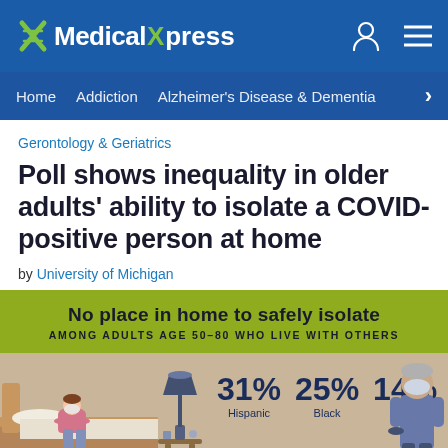Medical Xpress — Home | Addiction | Alzheimer's Disease & Dementia
Gerontology & Geriatrics
Poll shows inequality in older adults' ability to isolate a COVID-positive person at home
by University of Michigan
[Figure (infographic): Infographic showing 'No place in home to safely isolate among adults age 50-80 who live with others'. Statistics: 31% Hispanic, 25% Black, 14% White. Illustrated with a person on a bed and a person with mask.]